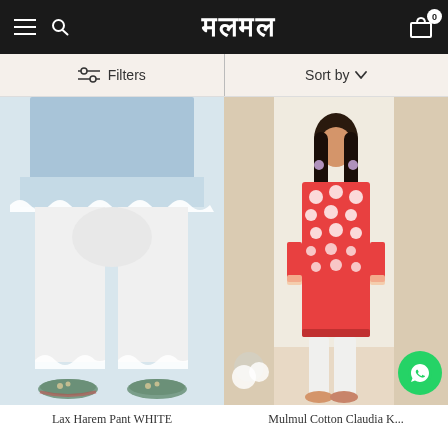मलमल — hamburger menu, search, cart (0)
Filters   Sort by
[Figure (photo): Close-up of white cotton harem pants with lace trim at hem and cuff, worn with embroidered juttis and a blue floral kurta above]
[Figure (photo): Woman wearing a red/coral Mulmul cotton Claudia kurta with white circular print and white dhoti pants, standing in a decorated indoor setting]
Lax Harem Pant WHITE
Mulmul Cotton Claudia K...